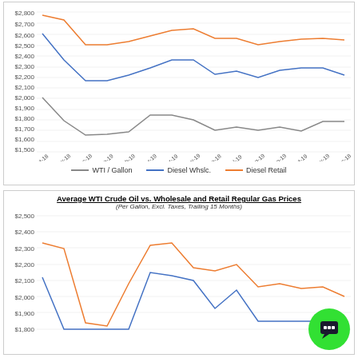[Figure (line-chart): Average WTI Crude Oil vs. Wholesale and Retail Diesel Prices]
[Figure (line-chart): Average WTI Crude Oil vs. Wholesale and Retail Regular Gas Prices]